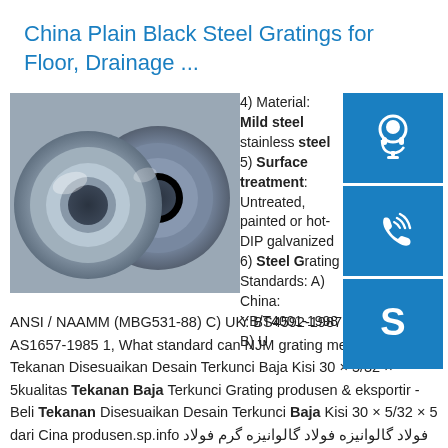China Plain Black Steel Gratings for Floor, Drainage ...
[Figure (photo): Photo of steel coil rolls, silvery metallic finish, two large coils stacked]
[Figure (other): Blue icon box with customer service / headset icon]
[Figure (other): Blue icon box with phone/call icon]
[Figure (other): Blue icon box with Skype icon]
4) Material: Mild steel stainless steel 5) Surface treatment: Untreated, painted or hot-DIP galvanized 6) Steel Grating Standards: A) China: YB/T4001-1998 B) USA: ANSI / NAAMM (MBG531-88) C) UK: BS4592-1987 D) Australia: AS1657-1985 1, What standard can NJM grating meet?sp.info Tekanan Disesuaikan Desain Terkunci Baja Kisi 30 × 5/32 × 5kualitas Tekanan Baja Terkunci Grating produsen & eksportir - Beli Tekanan Disesuaikan Desain Terkunci Baja Kisi 30 × 5/32 × 5 dari Cina produsen.sp.info فولاد گالوانیزه فولاد گالوانیزه گرم فولاد ضد زنگکیفیت گریت فولادی قفل شده با فشار تولید کنندگان & صادر کننده - خرید فولاد گالوانیزه فولاد گالوانیزه گرم فولاد ضد